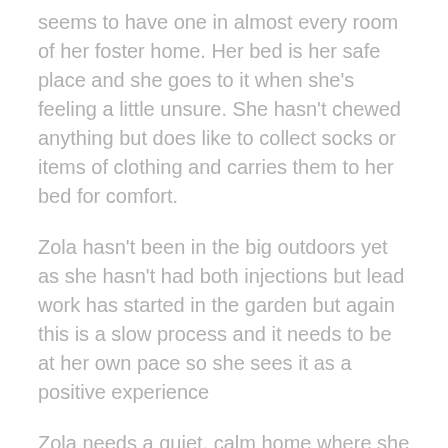seems to have one in almost every room of her foster home. Her bed is her safe place and she goes to it when she's feeling a little unsure. She hasn't chewed anything but does like to collect socks or items of clothing and carries them to her bed for comfort.
Zola hasn't been in the big outdoors yet as she hasn't had both injections but lead work has started in the garden but again this is a slow process and it needs to be at her own pace so she sees it as a positive experience
Zola needs a quiet, calm home where she can have lots of love and encouragement but it needs to be done slowly and at her pace. She has not been left on her own as she was upset when her foster family tried. She will need a